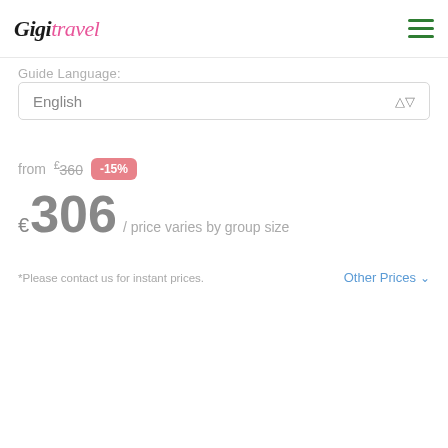Gigi Travel
Guide Language:
English
from €360 -15%
€306 / price varies by group size
*Please contact us for instant prices.
Other Prices